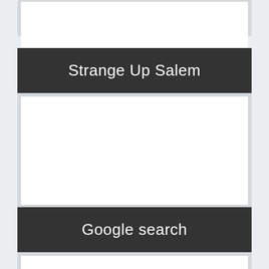[Figure (screenshot): Partial card widget at the top of the page, white body area, no visible content]
Strange Up Salem
[Figure (screenshot): White content area below Strange Up Salem header, empty]
Google search
Click the "HinesSight" button and you can search my